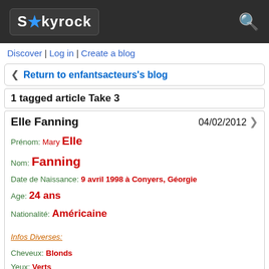Skyrock
Discover | Log in | Create a blog
Return to enfantsacteurs's blog
1 tagged article Take 3
Elle Fanning  04/02/2012
Prénom: Mary Elle
Nom: Fanning
Date de Naissance: 9 avril 1998 à Conyers, Géorgie
Age: 24 ans
Nationalité: Américaine
Infos Diverses:
Cheveux: Blonds
Yeux: Verts
Taille: 1m75
Langue: Anglais (maternelle)
Famille: Steven (père), Joy (mère), Dakota (grande sœur), Rick Arrigton (grand-père), Jill Arrigton (tante)